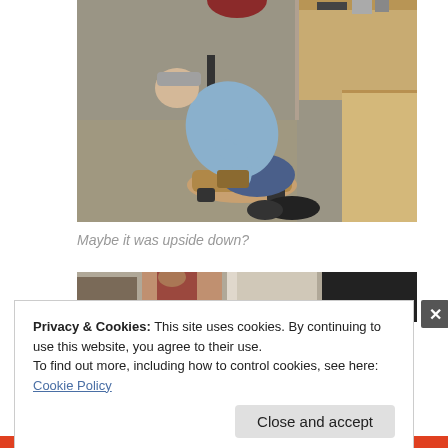[Figure (photo): A man wearing a blue shirt and jeans sitting on a small kneeling chair/stool, bent forward underneath a wooden desk in an office environment. Concrete floor visible, office furniture and items in background.]
Maybe it was upside down?
[Figure (photo): Partial view of another photo showing office chairs and people, partially obscured by the cookie consent banner.]
Privacy & Cookies: This site uses cookies. By continuing to use this website, you agree to their use.
To find out more, including how to control cookies, see here: Cookie Policy
Close and accept